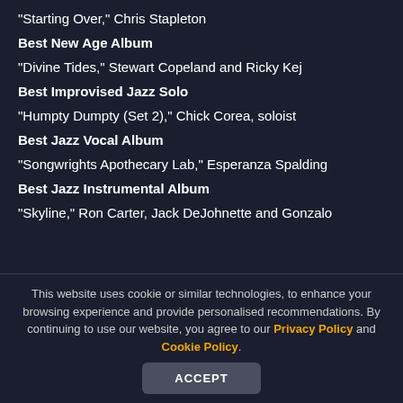“Starting Over,” Chris Stapleton
Best New Age Album
“Divine Tides,” Stewart Copeland and Ricky Kej
Best Improvised Jazz Solo
“Humpty Dumpty (Set 2),” Chick Corea, soloist
Best Jazz Vocal Album
“Songwrights Apothecary Lab,” Esperanza Spalding
Best Jazz Instrumental Album
“Skyline,” Ron Carter, Jack DeJohnette and Gonzalo
This website uses cookie or similar technologies, to enhance your browsing experience and provide personalised recommendations. By continuing to use our website, you agree to our Privacy Policy and Cookie Policy.